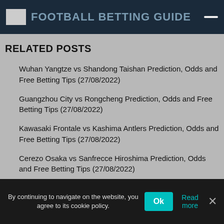Football Betting Guide
RELATED POSTS
Wuhan Yangtze vs Shandong Taishan Prediction, Odds and Free Betting Tips (27/08/2022)
Guangzhou City vs Rongcheng Prediction, Odds and Free Betting Tips (27/08/2022)
Kawasaki Frontale vs Kashima Antlers Prediction, Odds and Free Betting Tips (27/08/2022)
Cerezo Osaka vs Sanfrecce Hiroshima Prediction, Odds and Free Betting Tips (27/08/2022)
Kashiwa Reysol vs Tokyo Prediction, Odds and Free Betting Tips
By continuing to navigate on the website, you agree to its cookie policy.